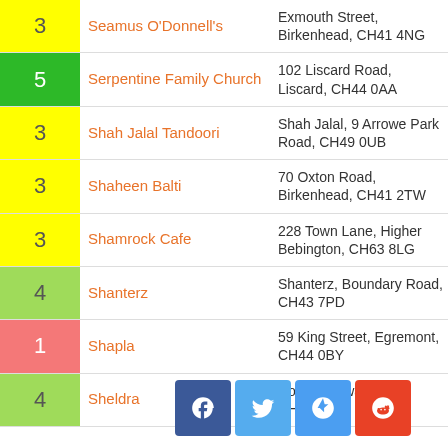| Score | Name | Address |
| --- | --- | --- |
| 3 | Seamus O'Donnell's | Exmouth Street, Birkenhead, CH41 4NG |
| 5 | Serpentine Family Church | 102 Liscard Road, Liscard, CH44 0AA |
| 3 | Shah Jalal Tandoori | Shah Jalal, 9 Arrowe Park Road, CH49 0UB |
| 3 | Shaheen Balti | 70 Oxton Road, Birkenhead, CH41 2TW |
| 3 | Shamrock Cafe | 228 Town Lane, Higher Bebington, CH63 8LG |
| 4 | Shanterz | Shanterz, Boundary Road, CH43 7PD |
| 1 | Shapla | 59 King Street, Egremont, CH44 0BY |
| 4 | Sheldra… | Road, Heswall, CH60 9JS |